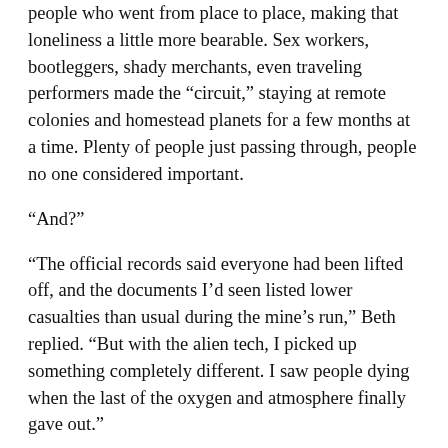people who went from place to place, making that loneliness a little more bearable. Sex workers, bootleggers, shady merchants, even traveling performers made the “circuit,” staying at remote colonies and homestead planets for a few months at a time. Plenty of people just passing through, people no one considered important.
“And?”
“The official records said everyone had been lifted off, and the documents I’d seen listed lower casualties than usual during the mine’s run,” Beth replied. “But with the alien tech, I picked up something completely different. I saw people dying when the last of the oxygen and atmosphere finally gave out.”
Wyatt felt a prickle on the back of his neck. He had heard rumors about Kalok and Interplanetary Mining Guild leaving people behind, covering up mining disasters, eliminating witnesses. Plenty of scuttlebutt, never any proof.
“More common you’d imagine, don’t you think?”